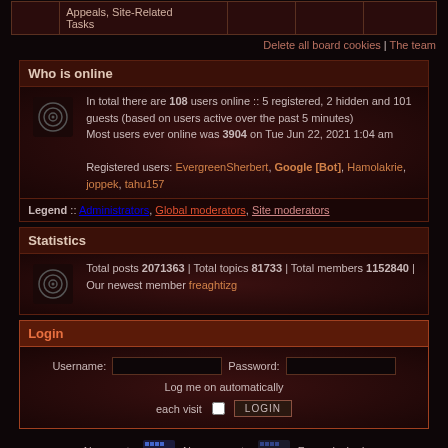|  | Appeals, Site-Related Tasks |  |  |  |
| --- | --- | --- | --- | --- |
|  |
Delete all board cookies | The team
Who is online
In total there are 108 users online :: 5 registered, 2 hidden and 101 guests (based on users active over the past 5 minutes)
Most users ever online was 3904 on Tue Jun 22, 2021 1:04 am
Registered users: EvergreenSherbert, Google [Bot], Hamolakrie, joppek, tahu157
Legend :: Administrators, Global moderators, Site moderators
Statistics
Total posts 2071363 | Total topics 81733 | Total members 1152840 | Our newest member freaghtizg
Login
Username: [input] Password: [input] Log me on automatically each visit [checkbox] LOGIN
New posts [icon] No new posts [icon] Forum locked
Back to the Encyclopaedia Metallum
Powered by phpBB © 2000, 2002, 2005, 2007 phpBB Group